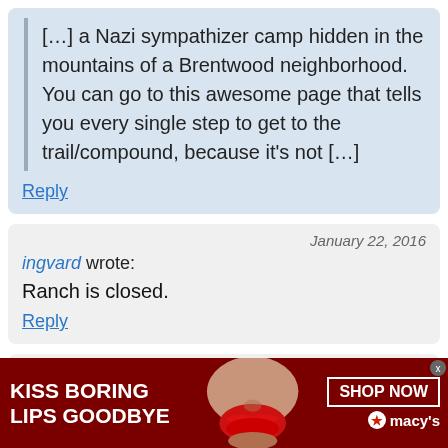[…] a Nazi sympathizer camp hidden in the mountains of a Brentwood neighborhood. You can go to this awesome page that tells you every single step to get to the trail/compound, because it's not […]
Reply
January 22, 2016
ingvard wrote:
Ranch is closed.
Reply
January 25, 201
[Figure (other): Macy's advertisement banner: dark red background with bold white text 'KISS BORING LIPS GOODBYE', a close-up photo of a woman's face with red lipstick, a 'SHOP NOW' button outlined in white, and the Macy's logo with a red star.]